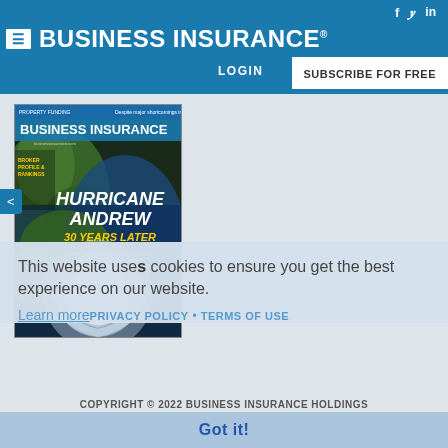BUSINESS INSURANCE
LOGIN
SUBSCRIBE FOR FREE
[Figure (photo): Business Insurance magazine cover featuring Hurricane Andrew 30 Years Later with satellite image of hurricane over southeastern US]
This website uses cookies to ensure you get the best experience on our website.
Learn more  PRIVACY POLICY • TERMS OF USE
COPYRIGHT © 2022 BUSINESS INSURANCE HOLDINGS
Got it!
Member, Beacon International Group, Ltd.
[Figure (logo): Beacon International Group logo with diamond shape in red]